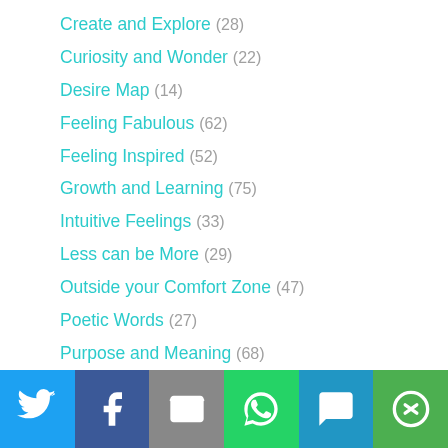Create and Explore (28)
Curiosity and Wonder (22)
Desire Map (14)
Feeling Fabulous (62)
Feeling Inspired (52)
Growth and Learning (75)
Intuitive Feelings (33)
Less can be More (29)
Outside your Comfort Zone (47)
Poetic Words (27)
Purpose and Meaning (68)
[Figure (screenshot): Social share bar with Twitter, Facebook, Email, WhatsApp, SMS, and More buttons]